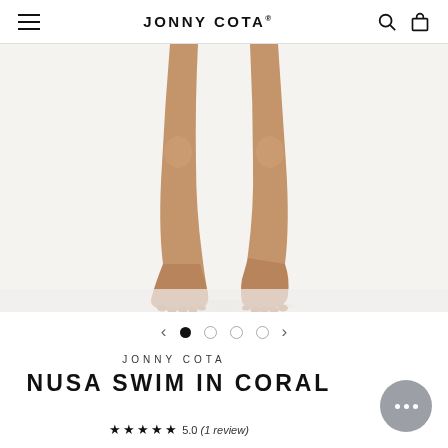JONNY COTA®
[Figure (photo): Close-up photo of a model's bare legs and feet standing on a white surface, cropped at thighs, product page image for Nusa Swim in Coral by Jonny Cota]
[Figure (other): Image carousel navigation: left arrow, 4 dots (first filled/active, rest empty), right arrow]
JONNY COTA
NUSA SWIM IN CORAL
★★★★★ 5.0 (1 review)